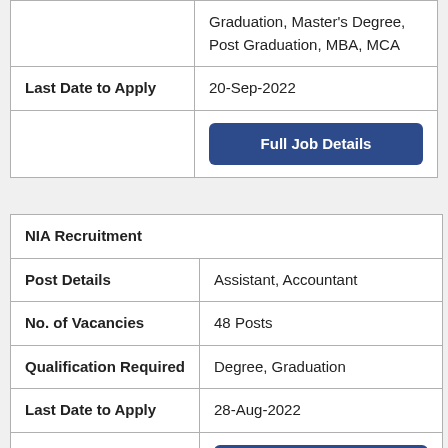|  | Graduation, Master's Degree, Post Graduation, MBA, MCA |
| Last Date to Apply | 20-Sep-2022 |
|  | Full Job Details |
| NIA Recruitment |  |
| --- | --- |
| Post Details | Assistant, Accountant |
| No. of Vacancies | 48 Posts |
| Qualification Required | Degree, Graduation |
| Last Date to Apply | 28-Aug-2022 |
|  | Full Job Details |